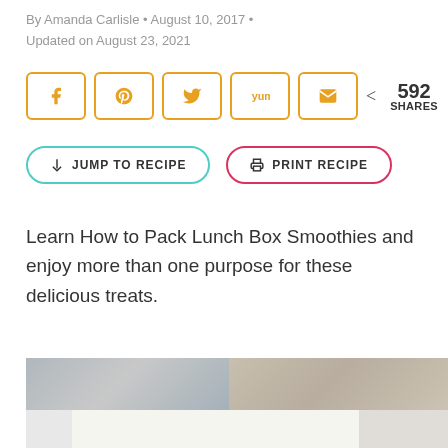By Amanda Carlisle • August 10, 2017 •
Updated on August 23, 2021
[Figure (infographic): Social share buttons row with icons for Facebook, Pinterest, Twitter, Yummly, and Email in orange-bordered rounded square buttons, followed by a share count showing 592 SHARES]
[Figure (infographic): Two action buttons: 'JUMP TO RECIPE' with teal/cyan border and down arrow icon, and 'PRINT RECIPE' with pink/red border and printer icon]
Learn How to Pack Lunch Box Smoothies and enjoy more than one purpose for these delicious treats.
[Figure (photo): Partially visible food photo, showing blurred/cropped image with gray and tan/beige tones at the bottom of the page]